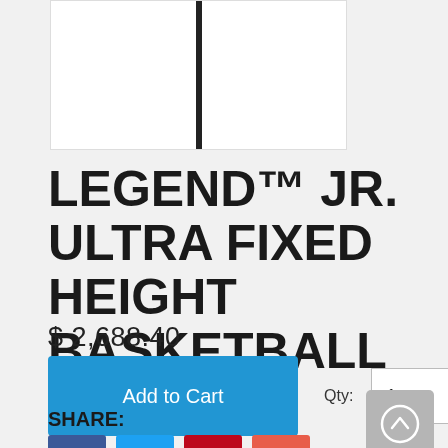[Figure (photo): Product image of basketball goal pole on white background]
LEGEND™ JR. ULTRA FIXED HEIGHT BASKETBALL GOAL
$ 2,688.40
Add to Cart  Qty: 1
SHARE:
[Figure (other): Social share buttons: Facebook, Twitter, Pinterest, Email]